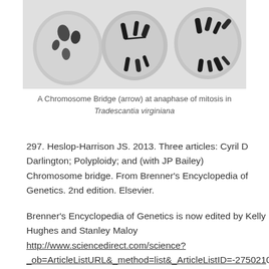[Figure (photo): Microscopy image showing chromosome bridges at anaphase of mitosis in Tradescantia virginiana — three cell images side by side on a light grey background]
A Chromosome Bridge (arrow) at anaphase of mitosis in Tradescantia virginiana
297. Heslop-Harrison JS. 2013. Three articles: Cyril D Darlington; Polyploidy; and (with JP Bailey) Chromosome bridge. From Brenner's Encyclopedia of Genetics. 2nd edition. Elsevier.
Brenner's Encyclopedia of Genetics is now edited by Kelly Hughes and Stanley Maloy http://www.sciencedirect.com/science?_ob=ArticleListURL&_method=list&_ArticleListID=-2750210 1600 articles, it's not too bad a price on Amazon at GBP£1,115 in hardcover (at least for a library where